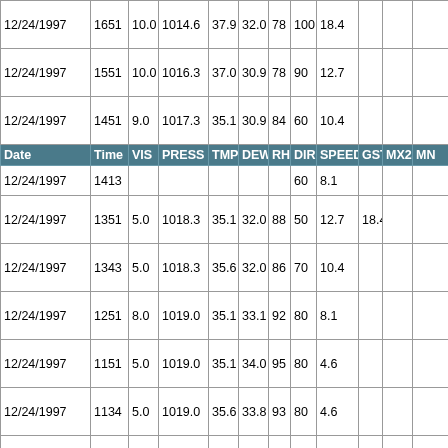| Date | Time | VIS | PRESS | TMP | DEW | RH | DIR | SPEED | GST | MX24 | MN |
| --- | --- | --- | --- | --- | --- | --- | --- | --- | --- | --- | --- |
| 12/24/1997 | 1651 | 10.0 | 1014.6 | 37.9 | 32.0 | 78 | 100 | 18.4 |  |  |  |
| 12/24/1997 | 1551 | 10.0 | 1016.3 | 37.0 | 30.9 | 78 | 90 | 12.7 |  |  |  |
| 12/24/1997 | 1451 | 9.0 | 1017.3 | 35.1 | 30.9 | 84 | 60 | 10.4 |  |  |  |
| Date | Time | VIS | PRESS | TMP | DEW | RH | DIR | SPEED | GST | MX24 | MN |
| 12/24/1997 | 1413 |  |  |  |  |  | 60 | 8.1 |  |  |  |
| 12/24/1997 | 1351 | 5.0 | 1018.3 | 35.1 | 32.0 | 88 | 50 | 12.7 | 18.4 |  |  |
| 12/24/1997 | 1343 | 5.0 | 1018.3 | 35.6 | 32.0 | 86 | 70 | 10.4 |  |  |  |
| 12/24/1997 | 1251 | 8.0 | 1019.0 | 35.1 | 33.1 | 92 | 80 | 8.1 |  |  |  |
| 12/24/1997 | 1151 | 5.0 | 1019.0 | 35.1 | 34.0 | 95 | 80 | 4.6 |  |  |  |
| 12/24/1997 | 1134 | 5.0 | 1019.0 | 35.6 | 33.8 | 93 | 80 | 4.6 |  |  |  |
| 12/24/1997 | 1126 | 5.0 | 1018.6 | 35.6 | 33.8 | 93 | 80 | 4.6 |  |  |  |
| 12/24/1997 | 1051 | 6.0 | 1018.6 | 35.1 | 34.0 | 95 | 60 | 4.6 |  |  |  |
| 12/24/1997 | 1012 | 5.0 | 1018.6 | 35.6 | 33.8 | 93 | 80 | 3.5 |  |  |  |
| 12/24/1997 | 0951 | 8.0 | 1018.6 | 35.1 | 34.0 | 95 | 80 | 3.5 |  |  |  |
| Date | Time | VIS | PRESS | TMP | DEW | RH | DIR | SPEED | GST | MX24 | MN |